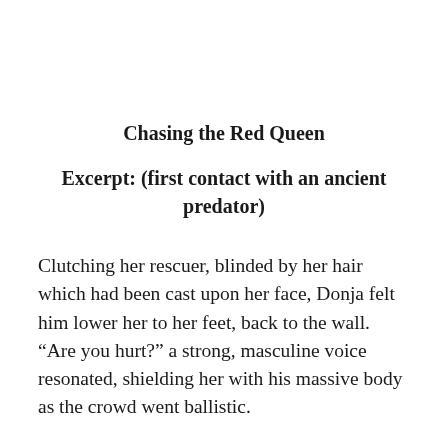Chasing the Red Queen
Excerpt: (first contact with an ancient predator)
Clutching her rescuer, blinded by her hair which had been cast upon her face, Donja felt him lower her to her feet, back to the wall. “Are you hurt?” a strong, masculine voice resonated, shielding her with his massive body as the crowd went ballistic.